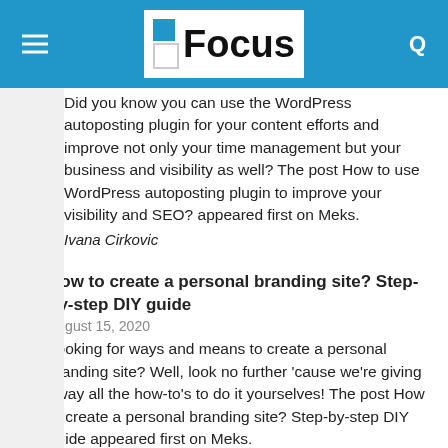Focus
Did you know you can use the WordPress autoposting plugin for your content efforts and improve not only your time management but your business and visibility as well? The post How to use WordPress autoposting plugin to improve your visibility and SEO? appeared first on Meks.
Ivana Cirkovic
How to create a personal branding site? Step-by-step DIY guide
August 15, 2020
Looking for ways and means to create a personal branding site? Well, look no further 'cause we're giving away all the how-to's to do it yourselves! The post How to create a personal branding site? Step-by-step DIY guide appeared first on Meks.
Ivana Cirkovic
Top 15 WordPress content plugins and tools to improve your visibility and rankings
July 16, 2020